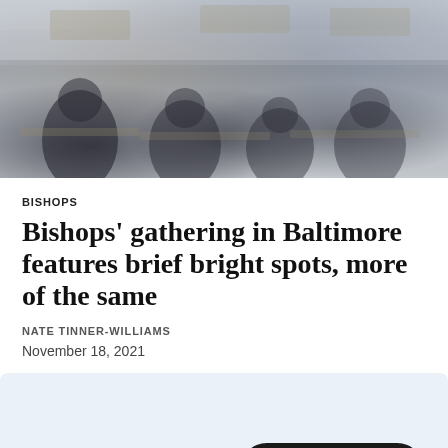[Figure (photo): Photograph of people seated at a conference or meeting, viewed from behind, with masks on, in a large hall setting. The image is muted/desaturated.]
BISHOPS
Bishops' gathering in Baltimore features brief bright spots, more of the same
NATE TINNER-WILLIAMS
November 18, 2021
[Figure (screenshot): Light blue subscribe widget area with a dark pill-shaped Subscribe button containing a newspaper icon and the word Subscribe]